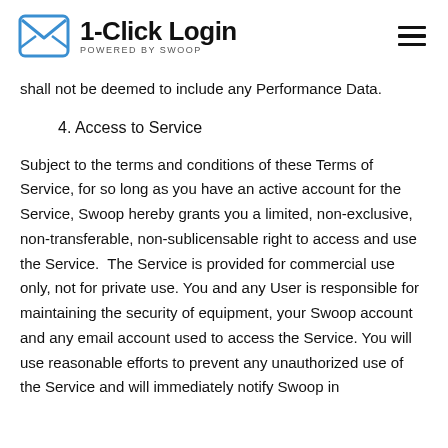1-Click Login POWERED BY SWOOP
shall not be deemed to include any Performance Data.
4. Access to Service
Subject to the terms and conditions of these Terms of Service, for so long as you have an active account for the Service, Swoop hereby grants you a limited, non-exclusive, non-transferable, non-sublicensable right to access and use the Service.  The Service is provided for commercial use only, not for private use. You and any User is responsible for maintaining the security of equipment, your Swoop account and any email account used to access the Service. You will use reasonable efforts to prevent any unauthorized use of the Service and will immediately notify Swoop in